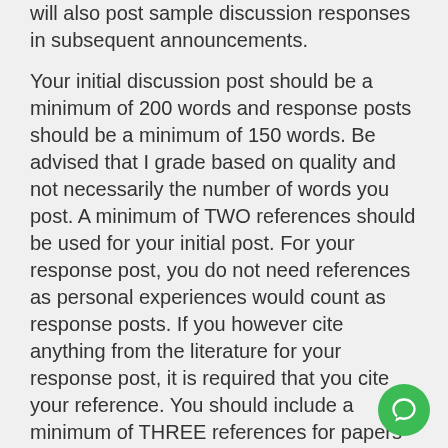will also post sample discussion responses in subsequent announcements.
Your initial discussion post should be a minimum of 200 words and response posts should be a minimum of 150 words. Be advised that I grade based on quality and not necessarily the number of words you post. A minimum of TWO references should be used for your initial post. For your response post, you do not need references as personal experiences would count as response posts. If you however cite anything from the literature for your response post, it is required that you cite your reference. You should include a minimum of THREE references for papers in this course. Please note that references should be no more than 5 years old except recommended as a resource for the class. Furthermore, for each discussion board question, you need ONE initial substantive response and TWO substantive responses to either your classmates or your